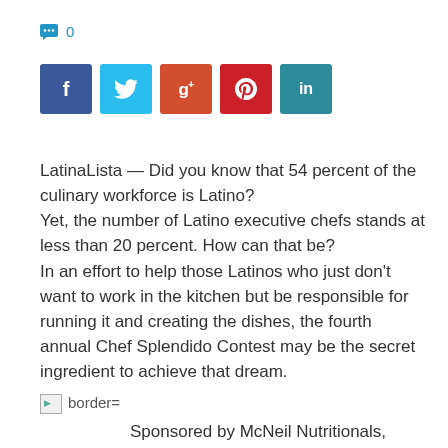💬 0
[Figure (infographic): Social share buttons: Facebook (blue), Twitter (light blue), Google+ (orange-red), Pinterest (red), LinkedIn (teal)]
LatinaLista — Did you know that 54 percent of the culinary workforce is Latino?
Yet, the number of Latino executive chefs stands at less than 20 percent. How can that be?
In an effort to help those Latinos who just don't want to work in the kitchen but be responsible for running it and creating the dishes, the fourth annual Chef Splendido Contest may be the secret ingredient to achieve that dream.
[broken image] border=
    Sponsored by McNeil Nutritionals, LLC, the global marketer of SPLENDA Sweenteners, the contest consists of a national search for aspiring Spanish-